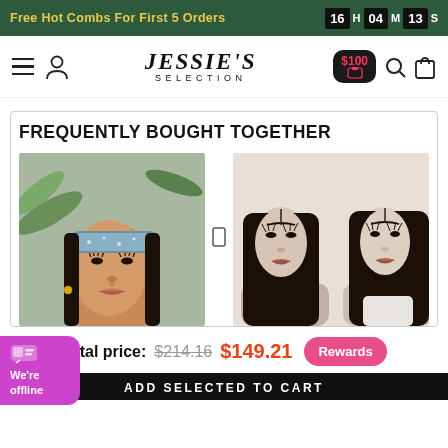Free Hot Combs For First 5 Orders  16H 04M 13S
[Figure (logo): Jessie's Selection brand logo with navigation icons including hamburger menu, user icon, $100 reward badge, search icon, and cart icon]
FREQUENTLY BOUGHT TOGETHER
[Figure (photo): Woman wearing a sparkly/glitter headband wig with natural makeup]
[Figure (photo): Two women wearing long black body wave lace front wigs]
Total price: $214.16  $149.21
ADD SELECTED TO CART